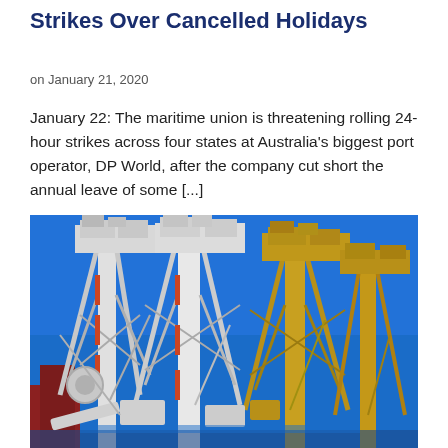Strikes Over Cancelled Holidays
on January 21, 2020
January 22: The maritime union is threatening rolling 24-hour strikes across four states at Australia’s biggest port operator, DP World, after the company cut short the annual leave of some [...]
[Figure (photo): Port cranes at a shipping terminal photographed from below against a clear blue sky. Large white and yellow industrial port cranes with complex metal lattice structures are visible.]